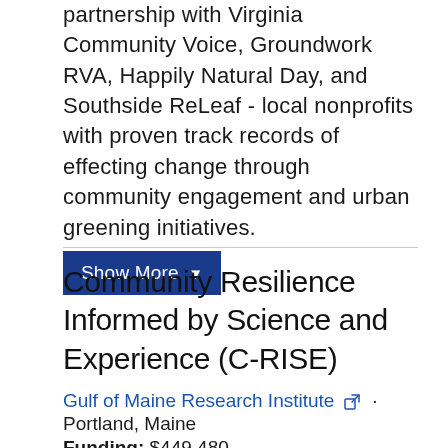partnership with Virginia Community Voice, Groundwork RVA, Happily Natural Day, and Southside ReLeaf - local nonprofits with proven track records of effecting change through community engagement and urban greening initiatives.
Show More ▼
Community Resilience Informed by Science and Experience (C-RISE)
Gulf of Maine Research Institute · Portland, Maine
Funding: $449,480